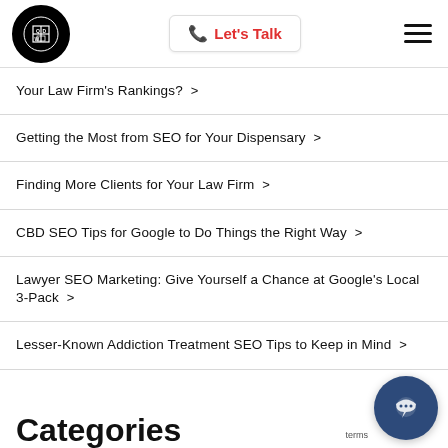Let's Talk
Your Law Firm's Rankings? >
Getting the Most from SEO for Your Dispensary >
Finding More Clients for Your Law Firm >
CBD SEO Tips for Google to Do Things the Right Way >
Lawyer SEO Marketing: Give Yourself a Chance at Google's Local 3-Pack >
Lesser-Known Addiction Treatment SEO Tips to Keep in Mind >
Categories